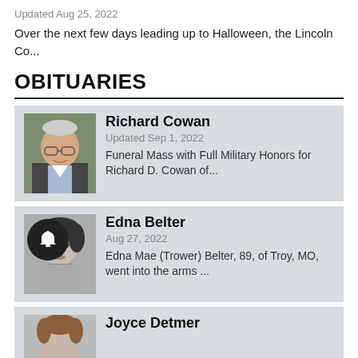Updated Aug 25, 2022
Over the next few days leading up to Halloween, the Lincoln Co...
OBITUARIES
Richard Cowan
Updated Sep 1, 2022
Funeral Mass with Full Military Honors for Richard D. Cowan of...
Edna Belter
Aug 27, 2022
Edna Mae (Trower) Belter, 89, of Troy, MO, went into the arms ...
Joyce Detmer